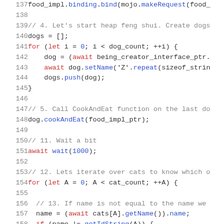Code listing lines 137-159, JavaScript source code showing heap feng shui exploit with dogs and cats objects, food_impl binding, cookAndEat, wait, and iteration logic.